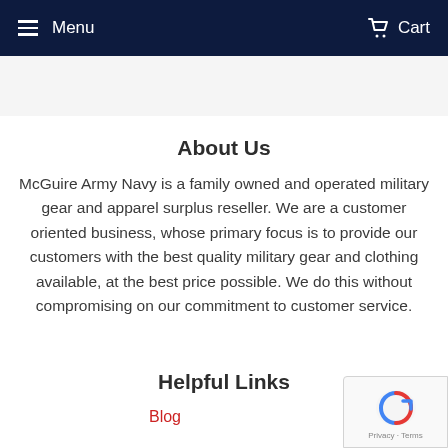Menu  Cart
About Us
McGuire Army Navy is a family owned and operated military gear and apparel surplus reseller. We are a customer oriented business, whose primary focus is to provide our customers with the best quality military gear and clothing available, at the best price possible. We do this without compromising on our commitment to customer service.
Helpful Links
Blog